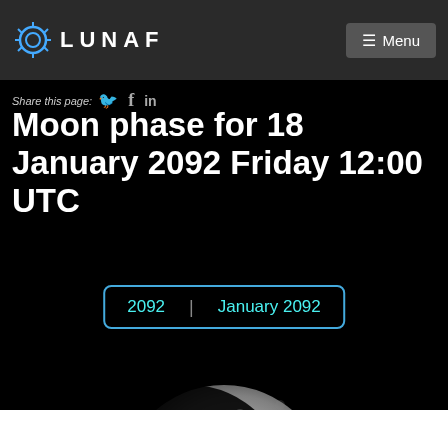LUNAF | Menu
Share this page:
Moon phase for 18 January 2092 Friday 12:00 UTC
[Figure (illustration): Navigation buttons showing '2092 | January 2092' in cyan text on dark background with cyan border]
[Figure (photo): Crescent moon partially visible rising from bottom of black background]